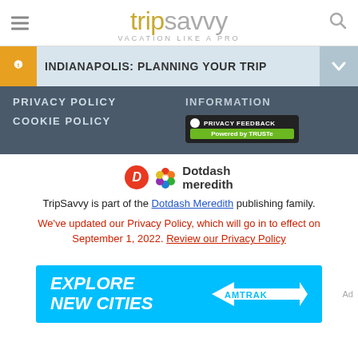TripSavvy — VACATION LIKE A PRO
INDIANAPOLIS: PLANNING YOUR TRIP
PRIVACY POLICY
COOKIE POLICY
INFORMATION
[Figure (logo): PRIVACY FEEDBACK Powered by TRUSTe badge]
[Figure (logo): Dotdash Meredith logo]
TripSavvy is part of the Dotdash Meredith publishing family.
We've updated our Privacy Policy, which will go in to effect on September 1, 2022. Review our Privacy Policy
[Figure (illustration): Amtrak advertisement banner — EXPLORE NEW CITIES]